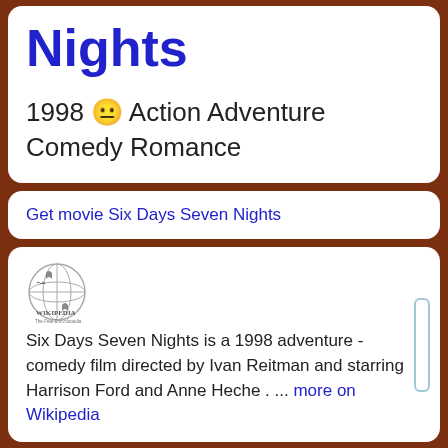Nights
1998 😐 Action Adventure Comedy Romance
Get movie Six Days Seven Nights
[Figure (logo): Wikipedia globe logo and wordmark]
Six Days Seven Nights is a 1998 adventure -comedy film directed by Ivan Reitman and starring Harrison Ford and Anne Heche . ... more on Wikipedia
Ashburn OPEN | 10:30AM–9PM
44155 Ashbrook Marketplace, Ashburn